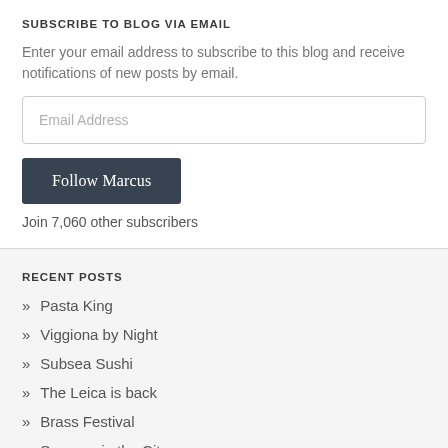SUBSCRIBE TO BLOG VIA EMAIL
Enter your email address to subscribe to this blog and receive notifications of new posts by email.
Email Address
Follow Marcus
Join 7,060 other subscribers
RECENT POSTS
» Pasta King
» Viggiona by Night
» Subsea Sushi
» The Leica is back
» Brass Festival
» Summer in the City